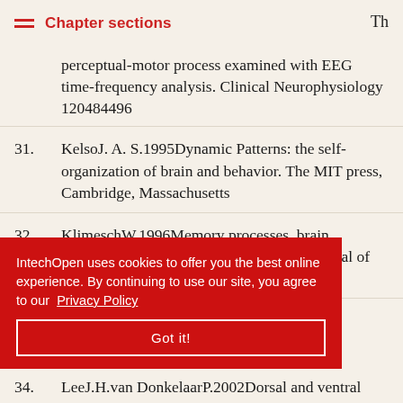Chapter sections   Th
perceptual-motor process examined with EEG time-frequency analysis. Clinical Neurophysiology 120484496
31.  KelsoJ. A. S.1995Dynamic Patterns: the self-organization of brain and behavior. The MIT press, Cambridge, Massachusetts
32.  KlimeschW.1996Memory processes, brain oscillations and EEG synchronization. Journal of Psychophysiology, 2461100
IntechOpen uses cookies to offer you the best online experience. By continuing to use our site, you agree to our Privacy Policy
Got it!
ation in Behavior, 31295North-
34.  LeeJ.H.van DonkelaarP.2002Dorsal and ventral